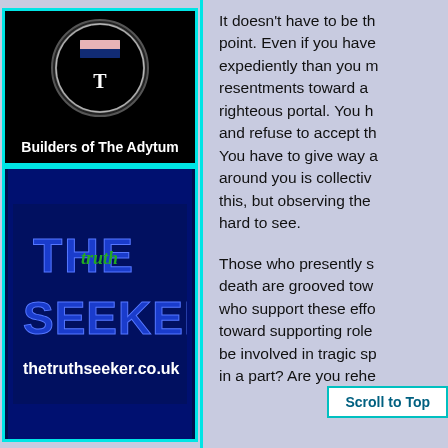[Figure (logo): Builders of The Adytum logo — circular badge on black background]
Builders of The Adytum
[Figure (logo): The Truth Seeker logo with thetruthseeker.co.uk on dark blue background]
CHRISTIANS FOR TRUTH
[Figure (logo): Shield/badge logo on gray background]
It doesn't have to be this point. Even if you have expediently than you resentments toward a righteous portal. You h and refuse to accept t You have to give way around you is collectiv this, but observing the hard to see.
Those who presently s death are grooved tow who support these eff toward supporting role be involved in tragic s in a part? Are you reh